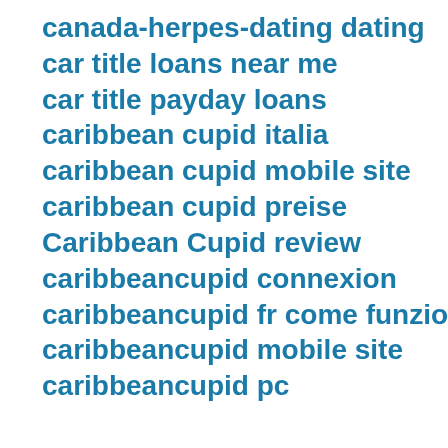canada-herpes-dating dating
car title loans near me
car title payday loans
caribbean cupid italia
caribbean cupid mobile site
caribbean cupid preise
Caribbean Cupid review
caribbeancupid connexion
caribbeancupid fr come funziona
caribbeancupid mobile site
caribbeancupid pc